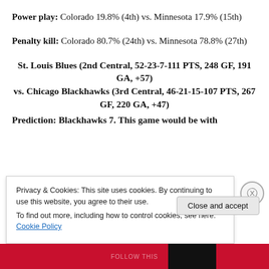Power play: Colorado 19.8% (4th) vs. Minnesota 17.9% (15th)
Penalty kill: Colorado 80.7% (24th) vs. Minnesota 78.8% (27th)
St. Louis Blues (2nd Central, 52-23-7-111 PTS, 248 GF, 191 GA, +57) vs. Chicago Blackhawks (3rd Central, 46-21-15-107 PTS, 267 GF, 220 GA, +47)
Prediction: Blackhawks 7. This game...
Privacy & Cookies: This site uses cookies. By continuing to use this website, you agree to their use. To find out more, including how to control cookies, see here: Cookie Policy